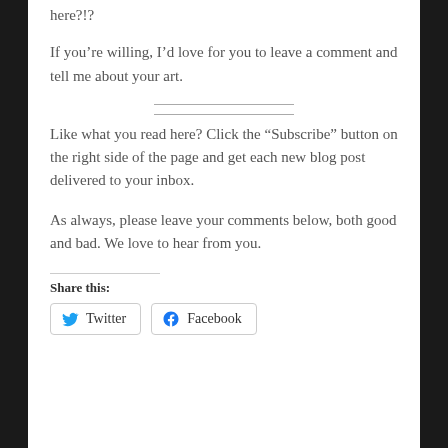here?!?
If you’re willing, I’d love for you to leave a comment and tell me about your art.
Like what you read here? Click the “Subscribe” button on the right side of the page and get each new blog post delivered to your inbox.
As always, please leave your comments below, both good and bad. We love to hear from you.
Share this:
Twitter   Facebook